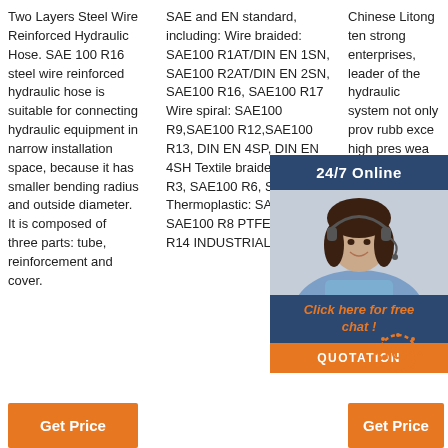Two Layers Steel Wire Reinforced Hydraulic Hose. SAE 100 R16 steel wire reinforced hydraulic hose is suitable for connecting hydraulic equipment in narrow installation space, because it has smaller bending radius and outside diameter. It is composed of three parts: tube, reinforcement and cover.
SAE and EN standard, including: Wire braided: SAE100 R1AT/DIN EN 1SN, SAE100 R2AT/DIN EN 2SN, SAE100 R16, SAE100 R17 Wire spiral: SAE100 R9,SAE100 R12,SAE100 R13, DIN EN 4SP, DIN EN 4SH Textile braided: SAE100 R3, SAE100 R6, SAE100 R5 Thermoplastic: SAE100 R7, SAE100 R8 PTFE:SAE100 R14 INDUSTRIAL HOSE
Chinese Litong ten strong enterprises, leader of the hydraulic system not only provides rubber excellence high pressure wear wire but also comprehensive service.Email : info2@letoneflex.com
[Figure (infographic): Customer service overlay with '24/7 Online' header, agent photo, 'Click here for free chat!' and QUOTATION button]
[Figure (infographic): TOP graphic with dotted circle and orange TOP text]
Get Price
Get Price